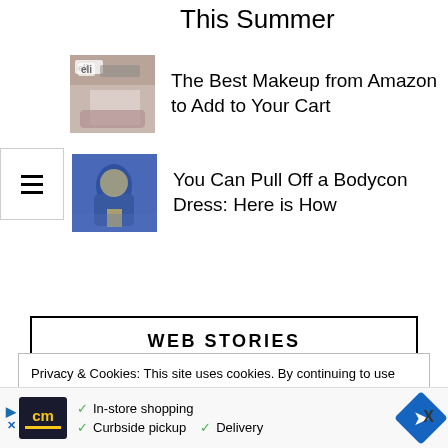This Summer
The Best Makeup from Amazon to Add to Your Cart
You Can Pull Off a Bodycon Dress: Here is How
WEB STORIES
View
Privacy & Cookies: This site uses cookies. By continuing to use this website, you agree to their use.
To find out more, including how to control cookies, see here: Cookie Policy
[Figure (other): Advertisement banner for CM with checkmarks: In-store shopping, Curbside pickup, Delivery and navigation icon]